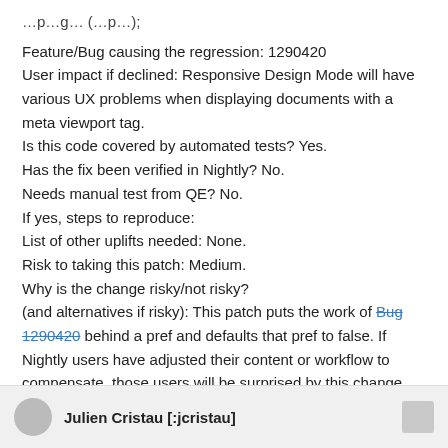Feature/Bug causing the regression: 1290420
User impact if declined: Responsive Design Mode will have various UX problems when displaying documents with a meta viewport tag.
Is this code covered by automated tests? Yes.
Has the fix been verified in Nightly? No.
Needs manual test from QE? No.
If yes, steps to reproduce:
List of other uplifts needed: None.
Risk to taking this patch: Medium.
Why is the change risky/not risky?
(and alternatives if risky): This patch puts the work of Bug 1290420 behind a pref and defaults that pref to false. If Nightly users have adjusted their content or workflow to compensate, those users will be surprised by this change. They will have to set the new pref to true to restore current behavior.
String changes made/needed: None.
Julien Cristau [:jcristau]